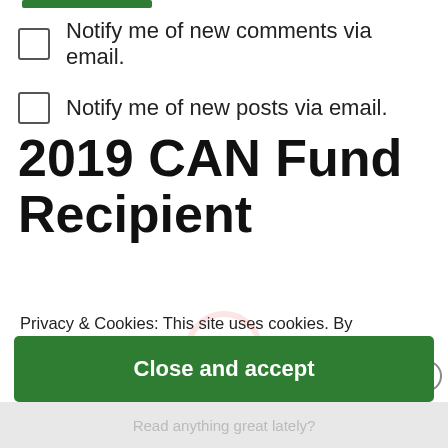Notify me of new comments via email.
Notify me of new posts via email.
2019 CAN Fund Recipient
Privacy & Cookies: This site uses cookies. By continuing to use this website, you agree to their use.
To find out more, including how to control cookies, see here: Cookie Policy
Close and accept
Read anything great lately?